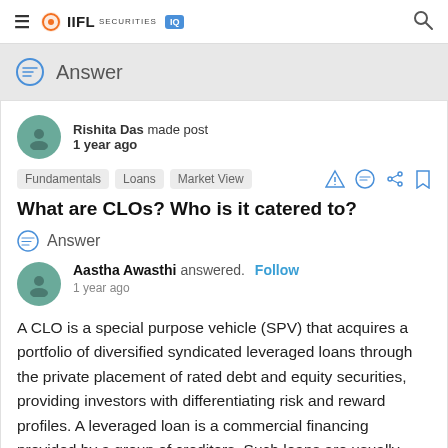IIFL Securities IQ
Answer
Rishita Das made post
1 year ago
Fundamentals   Loans   Market View
What are CLOs? Who is it catered to?
Answer
Aastha Awasthi answered.  Follow
1 year ago
A CLO is a special purpose vehicle (SPV) that acquires a portfolio of diversified syndicated leveraged loans through the private placement of rated debt and equity securities, providing investors with differentiating risk and reward profiles. A leveraged loan is a commercial financing provided by a group of creditors. Such loans are usually